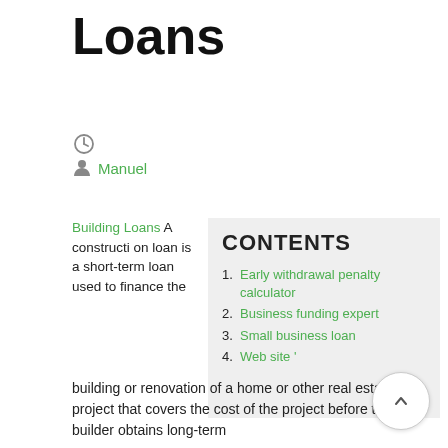Loans
[clock icon]
[person icon] Manuel
Building Loans A construction loan is a short-term loan used to finance the building or renovation of a home or other real estate project that covers the cost of the project before the builder obtains long-term
| CONTENTS |
| --- |
| 1. Early withdrawal penalty calculator |
| 2. Business funding expert |
| 3. Small business loan |
| 4. Web site ' |